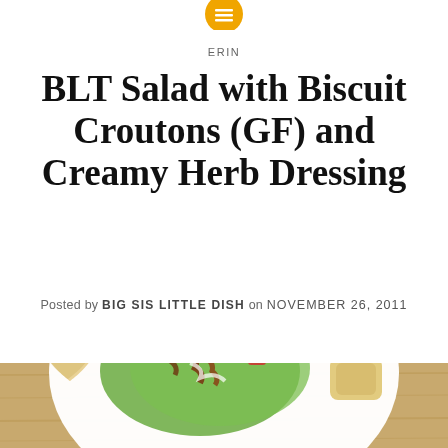[Figure (logo): Orange circular icon with white horizontal menu lines at top center of page]
ERIN
BLT Salad with Biscuit Croutons (GF) and Creamy Herb Dressing
Posted by BIG SIS LITTLE DISH on NOVEMBER 26, 2011
[Figure (photo): Photo of a white bowl containing BLT salad with romaine lettuce, diced tomatoes, bacon crumbles, creamy dressing, and heart-shaped biscuit croutons, on a wooden cutting board background]